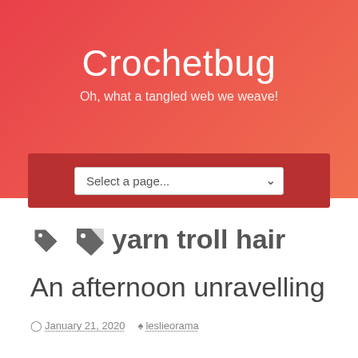Crochetbug
Oh, what a tangled web we weave!
Select a page...
yarn troll hair
An afternoon unravelling
January 21, 2020   leslieorama